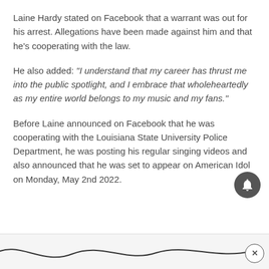Laine Hardy stated on Facebook that a warrant was out for his arrest. Allegations have been made against him and that he's cooperating with the law.
He also added: "I understand that my career has thrust me into the public spotlight, and I embrace that wholeheartedly as my entire world belongs to my music and my fans."
Before Laine announced on Facebook that he was cooperating with the Louisiana State University Police Department, he was posting his regular singing videos and also announced that he was set to appear on American Idol on Monday, May 2nd 2022.